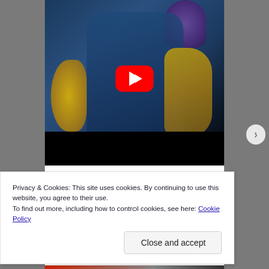[Figure (screenshot): YouTube video thumbnail showing a fantasy/sci-fi character in blue and gold armor with a red YouTube play button overlay. The lower portion of the video area is a black bar.]
Privacy & Cookies: This site uses cookies. By continuing to use this website, you agree to their use.
To find out more, including how to control cookies, see here: Cookie Policy
Close and accept